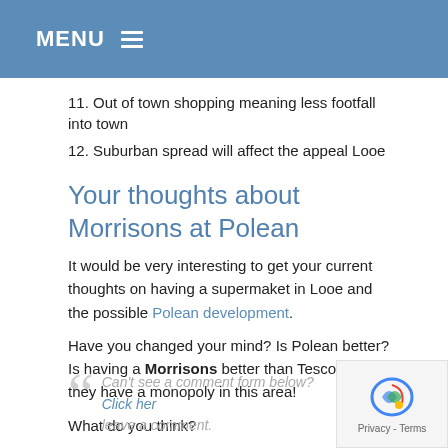MENU ≡
11. Out of town shopping meaning less footfall into town
12. Suburban spread will affect the appeal Looe
Your thoughts about Morrisons at Polean
It would be very interesting to get your current thoughts on having a supermaket in Looe and the possible Polean development.
Have you changed your mind? Is Polean better? Is having a Morrisons better than Tesco? Will they have a monopoly in this area!
What do you think?
Can't see a comment form below? Click here to leave a comment.